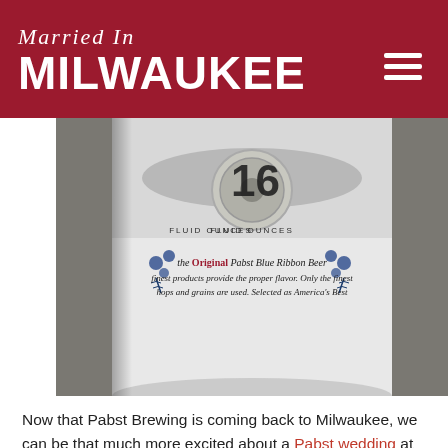Married In MILWAUKEE
[Figure (photo): Close-up of a Pabst Blue Ribbon 16 fluid ounce beer can, showing the top of the can with pull tab and label text including '16 FLUID OUNCES', 'the Original Pabst Blue Ribbon Beer', and 'Selected as America's Best'. Blue hop/grain decorations visible.]
Now that Pabst Brewing is coming back to Milwaukee, we can be that much more excited about a Pabst wedding at Best Place. Photo by John Ciciora Photography.